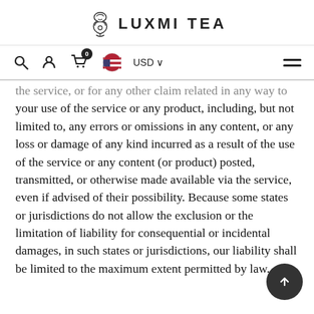LUXMI TEA
the service, or for any other claim related in any way to your use of the service or any product, including, but not limited to, any errors or omissions in any content, or any loss or damage of any kind incurred as a result of the use of the service or any content (or product) posted, transmitted, or otherwise made available via the service, even if advised of their possibility. Because some states or jurisdictions do not allow the exclusion or the limitation of liability for consequential or incidental damages, in such states or jurisdictions, our liability shall be limited to the maximum extent permitted by law.